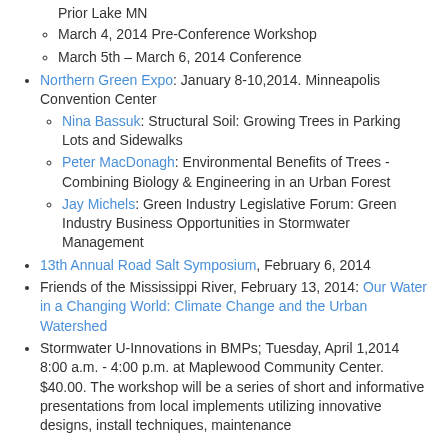Prior Lake MN
March 4, 2014 Pre-Conference Workshop
March 5th – March 6, 2014 Conference
Northern Green Expo: January 8-10,2014. Minneapolis Convention Center
Nina Bassuk: Structural Soil: Growing Trees in Parking Lots and Sidewalks
Peter MacDonagh: Environmental Benefits of Trees - Combining Biology & Engineering in an Urban Forest
Jay Michels: Green Industry Legislative Forum: Green Industry Business Opportunities in Stormwater Management
13th Annual Road Salt Symposium, February 6, 2014
Friends of the Mississippi River, February 13, 2014: Our Water in a Changing World: Climate Change and the Urban Watershed
Stormwater U-Innovations in BMPs; Tuesday, April 1,2014 8:00 a.m. - 4:00 p.m. at Maplewood Community Center. $40.00. The workshop will be a series of short and informative presentations from local implements utilizing innovative designs, install techniques, maintenance